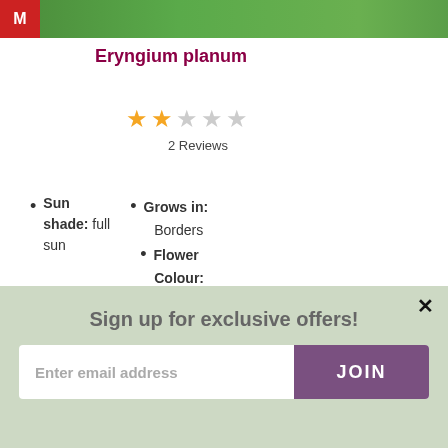[Figure (photo): Top partial image showing green foliage with a blue/purple flower and a red logo patch in the top-left corner]
Eryngium planum
[Figure (other): Star rating: 2 out of 5 stars filled in orange, 3 empty stars]
2 Reviews
Sun shade: full sun • Grows in: Borders • Flower Colour: Blue
Longevity: Perennial
[Figure (photo): Partial image at bottom showing green and purple foliage]
Sign up for exclusive offers!
Enter email address
JOIN